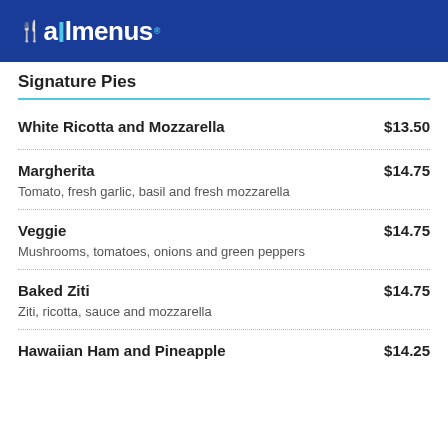allmenus
Signature Pies
White Ricotta and Mozzarella — $13.50
Margherita — $14.75. Tomato, fresh garlic, basil and fresh mozzarella
Veggie — $14.75. Mushrooms, tomatoes, onions and green peppers
Baked Ziti — $14.75. Ziti, ricotta, sauce and mozzarella
Hawaiian Ham and Pineapple — $14.25